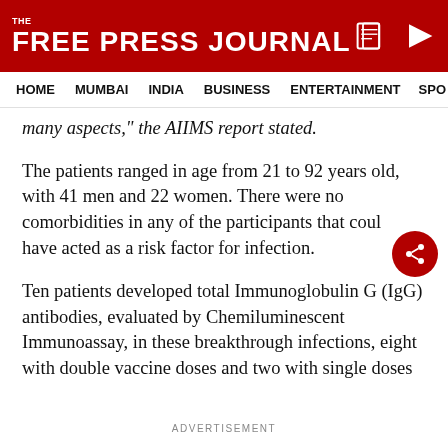THE FREE PRESS JOURNAL
HOME  MUMBAI  INDIA  BUSINESS  ENTERTAINMENT  SPO
many aspects," the AIIMS report stated.
The patients ranged in age from 21 to 92 years old, with 41 men and 22 women. There were no comorbidities in any of the participants that could have acted as a risk factor for infection.
Ten patients developed total Immunoglobulin G (IgG) antibodies, evaluated by Chemiluminescent Immunoassay, in these breakthrough infections, eight with double vaccine doses and two with single doses
ADVERTISEMENT